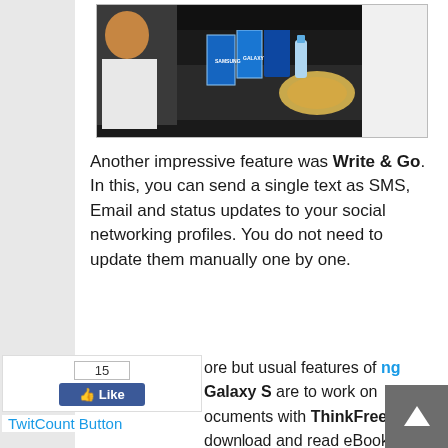[Figure (photo): Photo of people at a table with Samsung Galaxy S boxes and food]
Another impressive feature was Write & Go. In this, you can send a single text as SMS, Email and status updates to your social networking profiles. You do not need to update them manually one by one.
[Figure (other): Facebook Like button widget showing 15 likes]
TwitCount Button
ore but usual features of ng Galaxy S are to work on ocuments with ThinkFree, download and read eBooks with Aldiko, Wireless Tethering to use